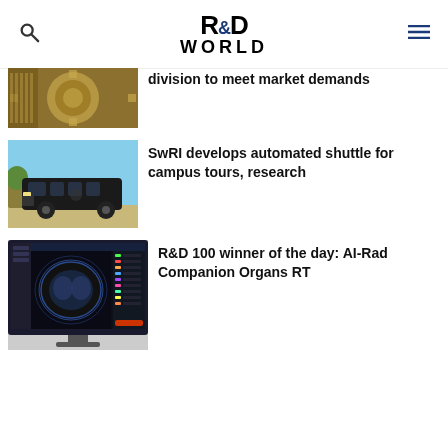R&D World
division to meet market demands
[Figure (photo): Close-up photo of electronic circuit board with gold-colored components]
SwRI develops automated shuttle for campus tours, research
[Figure (photo): Black shuttle van parked outdoors on a sunny day]
R&D 100 winner of the day: AI-Rad Companion Organs RT
[Figure (photo): Computer monitor displaying medical imaging software with brain scan]